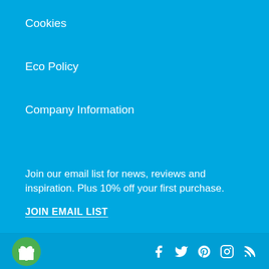Cookies
Eco Policy
Company Information
Join our email list for news, reviews and inspiration. Plus 10% off your first purchase.
JOIN EMAIL LIST
Social icons: gift, facebook, twitter, pinterest, instagram, rss